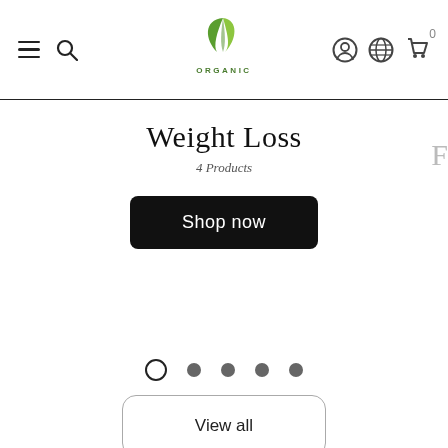[Figure (screenshot): Website navigation bar with hamburger menu, search icon, green organic leaf logo with ORGANIC text, and right-side icons for account, globe, and shopping cart with badge 0]
Weight Loss
4 Products
Shop now
[Figure (other): Carousel pagination dots: one open circle and four filled circles]
View all
[Figure (other): Upward chevron arrow]